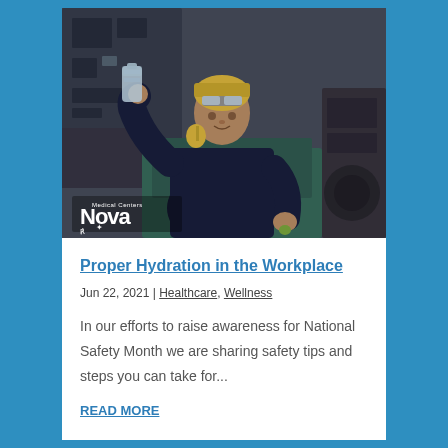[Figure (photo): A male industrial worker wearing safety goggles pushed up on his forehead and ear protection around his neck, drinking water from a plastic bottle while working at an industrial machine. Nova Medical Centers logo visible in bottom left corner of the image.]
Proper Hydration in the Workplace
Jun 22, 2021 | Healthcare, Wellness
In our efforts to raise awareness for National Safety Month we are sharing safety tips and steps you can take for...
READ MORE